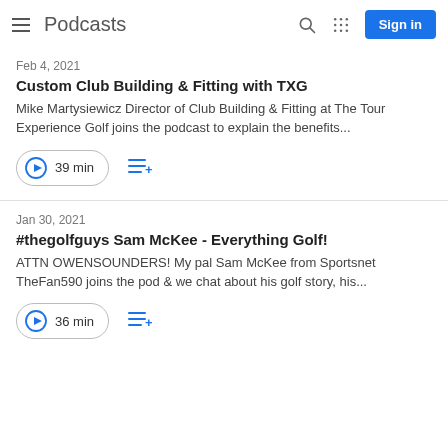Podcasts
Feb 4, 2021
Custom Club Building & Fitting with TXG
Mike Martysiewicz Director of Club Building & Fitting at The Tour Experience Golf joins the podcast to explain the benefits...
39 min
Jan 30, 2021
#thegolfguys Sam McKee - Everything Golf!
ATTN OWENSOUNDERS! My pal Sam McKee from Sportsnet TheFan590 joins the pod & we chat about his golf story, his...
36 min